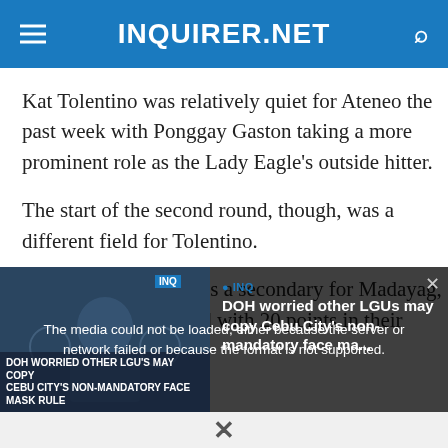INQUIRER.NET
Kat Tolentino was relatively quiet for Ateneo the past week with Ponggay Gaston taking a more prominent role as the Lady Eagle's outside hitter.
The start of the second round, though, was a different field for Tolentino.
Although she played as a secondary for Madayag, Tolentino still finished with 20 points in their
[Figure (screenshot): Video overlay showing error message: 'The media could not be loaded, either because the server or network failed or because the format is not supported.' with a thumbnail of a news segment about DOH worried other LGUs may copy Cebu City's non-mandatory face mask rule.]